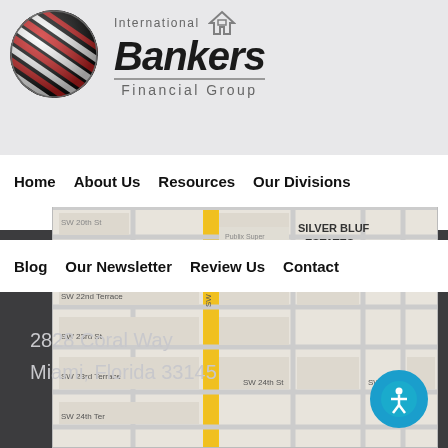[Figure (logo): International Bankers Financial Group logo with red and white striped globe on left and company name text on right, with a house/equal housing icon]
Our Location
Home   About Us   Resources   Our Divisions
Blog   Our Newsletter   Review Us   Contact
[Figure (map): Google Maps showing Silver Bluff Estates area in Miami with streets SW 22nd Terrace, SW 23rd St, SW 23rd Terrace, SW 24th St, SW 29th Ave, and a Publix Super Market location marker]
2828 Coral Way
Miami, Florida 33145
[Figure (other): Accessibility icon - person with arms extended in a circle, cyan/teal colored button]